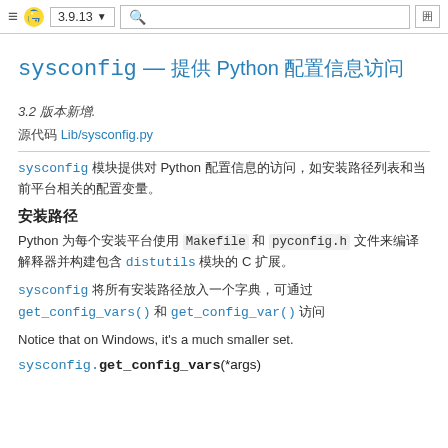≡ 🐍 3.9.13 ▼  🔍  囲
sysconfig — 提供 Python 配置信息访问
3.2 版本新增.
源代码 Lib/sysconfig.py
sysconfig 模块提供对 Python 配置信息的访问，如安装路径列表和当前平台相关的配置变量。
安装路径
Python 为每个安装平台使用 Makefile 和 pyconfig.h 文件来编译解释器并构建包含 distutils 模块的 C 扩展。
sysconfig 将所有安装路径放入一个字典，可通过 get_config_vars() 或 get_config_var() 访问
Notice that on Windows, it's a much smaller set.
sysconfig.get_config_vars(*args)